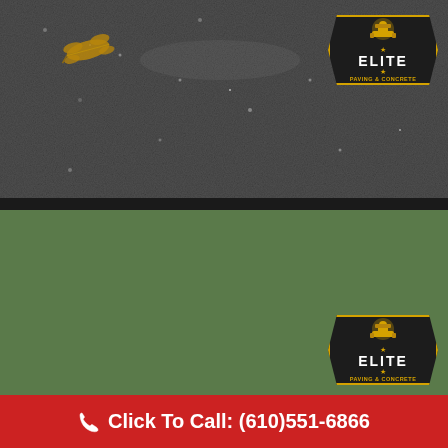[Figure (photo): Close-up of freshly laid dark asphalt/paving surface with a dried leaf and Elite Paving & Concrete logo badge in the upper right]
[Figure (photo): Outdoor scene showing paving crew installing a new asphalt driveway with roller equipment, workers in safety vests, white houses in background, autumn trees, and Elite Paving & Concrete logo badge in lower right]
Click To Call: (610)551-6866